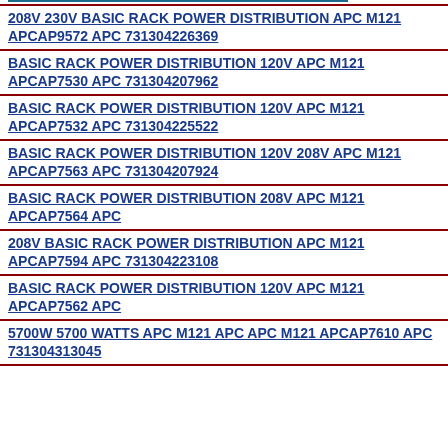208V 230V BASIC RACK POWER DISTRIBUTION APC M121 APCAP9572 APC 731304226369
BASIC RACK POWER DISTRIBUTION 120V APC M121 APCAP7530 APC 731304207962
BASIC RACK POWER DISTRIBUTION 120V APC M121 APCAP7532 APC 731304225522
BASIC RACK POWER DISTRIBUTION 120V 208V APC M121 APCAP7563 APC 731304207924
BASIC RACK POWER DISTRIBUTION 208V APC M121 APCAP7564 APC
208V BASIC RACK POWER DISTRIBUTION APC M121 APCAP7594 APC 731304223108
BASIC RACK POWER DISTRIBUTION 120V APC M121 APCAP7562 APC
5700W 5700 WATTS APC M121 APC APC M121 APCAP7610 APC 731304313045